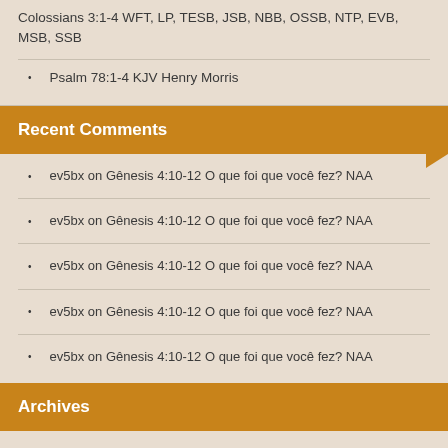Colossians 3:1-4 WFT, LP, TESB, JSB, NBB, OSSB, NTP, EVB, MSB, SSB
Psalm 78:1-4 KJV Henry Morris
Recent Comments
ev5bx on Gênesis 4:10-12 O que foi que você fez? NAA
ev5bx on Gênesis 4:10-12 O que foi que você fez? NAA
ev5bx on Gênesis 4:10-12 O que foi que você fez? NAA
ev5bx on Gênesis 4:10-12 O que foi que você fez? NAA
ev5bx on Gênesis 4:10-12 O que foi que você fez? NAA
Archives